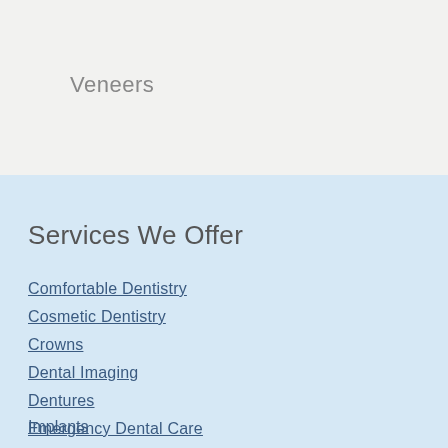Veneers
Services We Offer
Comfortable Dentistry
Cosmetic Dentistry
Crowns
Dental Imaging
Dentures
Emergency Dental Care
Implants